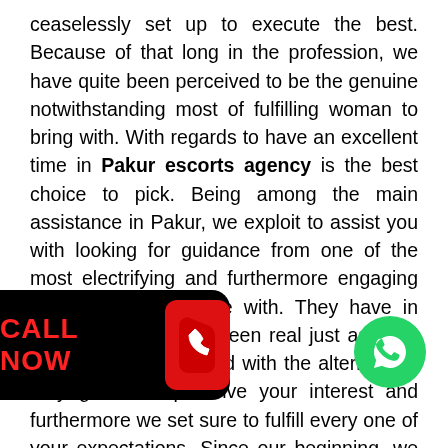ceaselessly set up to execute the best. Because of that long in the profession, we have quite been perceived to be the genuine notwithstanding most of fulfilling woman to bring with. With regards to have an excellent time in Pakur escorts agency is the best choice to pick. Being among the main assistance in Pakur, we exploit to assist you with looking for guidance from one of the most electrifying and furthermore engaging women to spend time with. They have in actuality ceaselessly been real just as ONE HUNDRED % charmed with the alternatives they give. We perceive your interest and furthermore we set sure to fulfill every one of your expectations. Since our beginning, we have in certainty been working in hundreds and clients from all through the duty. Our clients have very whatever point they require the arrangements of Escorts. This portrays a ton
[Figure (other): Black banner with red CALL NOW text and phone icon, overlaid on the bottom-left of the page]
[Figure (other): Green WhatsApp circle icon overlaid on the right side of the page]